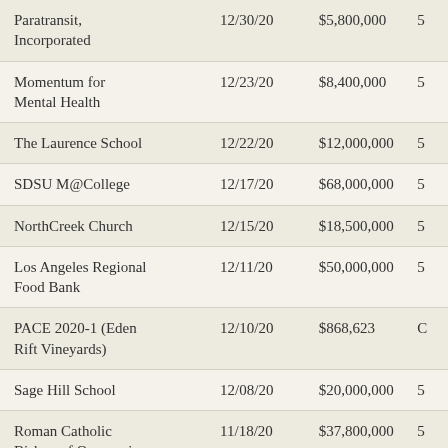| Organization | Date | Amount |  |
| --- | --- | --- | --- |
| Paratransit, Incorporated | 12/30/20 | $5,800,000 | 5 |
| Momentum for Mental Health | 12/23/20 | $8,400,000 | 5 |
| The Laurence School | 12/22/20 | $12,000,000 | 5 |
| SDSU M@College | 12/17/20 | $68,000,000 | 5 |
| NorthCreek Church | 12/15/20 | $18,500,000 | 5 |
| Los Angeles Regional Food Bank | 12/11/20 | $50,000,000 | 5 |
| PACE 2020-1 (Eden Rift Vineyards) | 12/10/20 | $868,623 | C |
| Sage Hill School | 12/08/20 | $20,000,000 | 5 |
| Roman Catholic Bishop of Orange, in connection with | 11/18/20 | $37,800,000 | 5 |